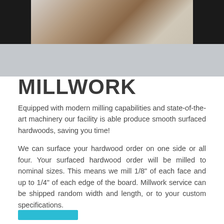[Figure (photo): Photo strip showing a wood/millwork image in the center with dark black panels on left and right sides, and a gray band below]
MILLWORK
Equipped with modern milling capabilities and state-of-the-art machinery our facility is able produce smooth surfaced hardwoods, saving you time!
We can surface your hardwood order on one side or all four. Your surfaced hardwood order will be milled to nominal sizes. This means we mill 1/8" of each face and up to 1/4" of each edge of the board. Millwork service can be shipped random width and length, or to your custom specifications.